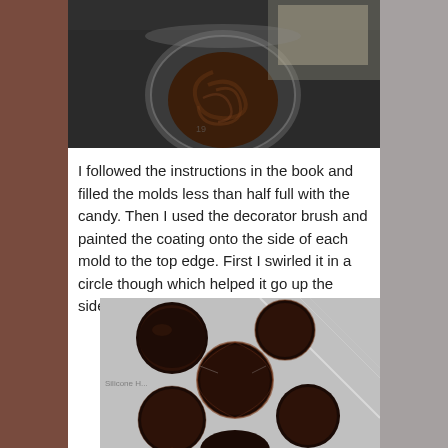[Figure (photo): Top-down view of melted chocolate being swirled in a metal bowl or pot, with other items visible in the background on a dark countertop.]
I followed the instructions in the book and filled the molds less than half full with the candy. Then I used the decorator brush and painted the coating onto the side of each mold to the top edge. First I swirled it in a circle though which helped it go up the sides.
[Figure (photo): Overhead view of a chocolate mold tray showing multiple round chocolate cups coated with dark chocolate, arranged in a grid pattern on a silver tray.]